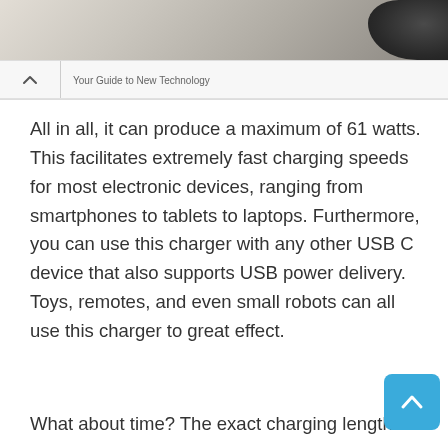[Figure (photo): Top portion of a webpage screenshot showing a nav bar with a chevron/up arrow, 'Your Guide to New Technology' label, and a blurred product photo strip above it.]
All in all, it can produce a maximum of 61 watts. This facilitates extremely fast charging speeds for most electronic devices, ranging from smartphones to tablets to laptops. Furthermore, you can use this charger with any other USB C device that also supports USB power delivery. Toys, remotes, and even small robots can all use this charger to great effect.
What about time? The exact charging length you